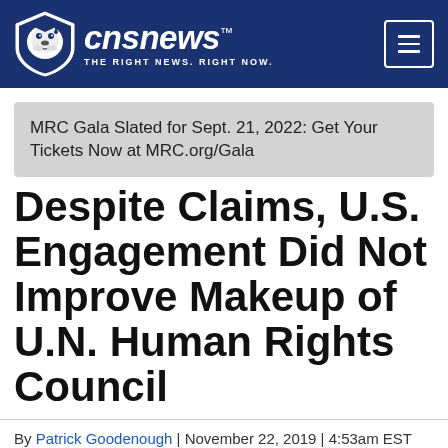cnsnews™ THE RIGHT NEWS. RIGHT NOW.
MRC Gala Slated for Sept. 21, 2022: Get Your Tickets Now at MRC.org/Gala
Despite Claims, U.S. Engagement Did Not Improve Makeup of U.N. Human Rights Council
By Patrick Goodenough | November 22, 2019 | 4:53am EST